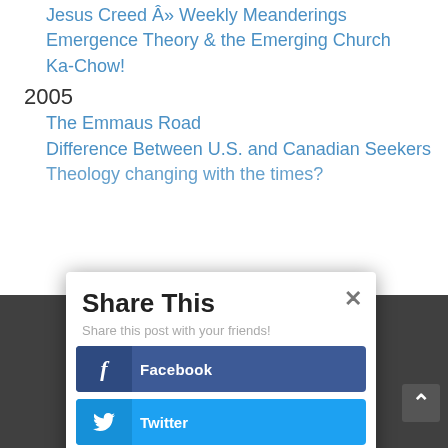Jesus Creed Â» Weekly Meanderings
Emergence Theory & the Emerging Church
Ka-Chow!
2005
The Emmaus Road
Difference Between U.S. and Canadian Seekers
Theology changing with the times?
[Figure (screenshot): Share This modal dialog with social sharing buttons for Facebook, Twitter, Google+, and LinkedIn over a dark overlay on a webpage listing blog post links.]